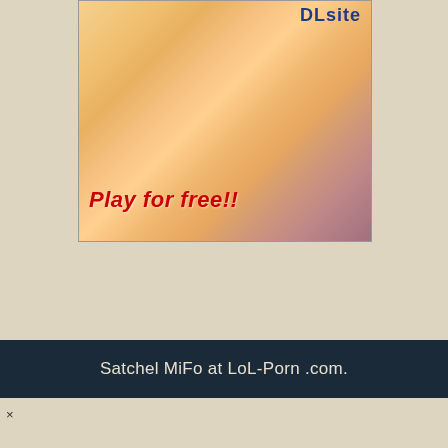[Figure (illustration): Anime-style advertisement banner with a blonde character and text overlays. DLsite logo in top right corner. Red bold text reads 'Play for free!!' at bottom left of image.]
Satchel MiFo at LoL-Porn .com.
×